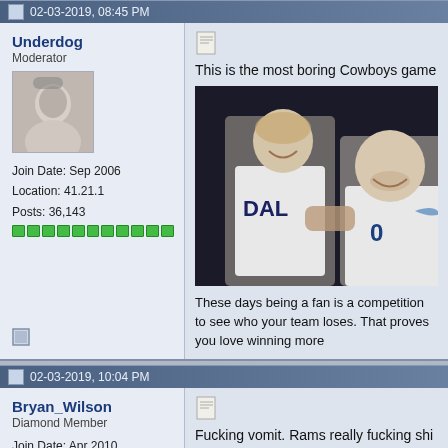02-03-2019, 08:45 PM
Underdog
Moderator
Join Date: Sep 2006
Location: 41.21.1
Posts: 36,143
[Figure (photo): Avatar photo of user Underdog - black and white image of a person]
This is the most boring Cowboys game
[Figure (photo): Photo of two Dallas Mavericks basketball players smiling in white DALLAS jerseys]
These days being a fan is a competition to see who your team loses. That proves you love winning more
02-03-2019, 10:04 PM
Bryan_Wilson
Diamond Member
Join Date: Apr 2010
Posts: 5,618
Fucking vomit. Rams really fucking shi